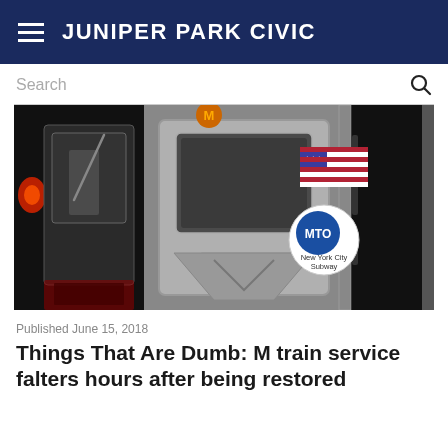JUNIPER PARK CIVIC
[Figure (photo): Front of a New York City MTA subway train car with MTO New York City Subway logo and American flag decal visible on the dark exterior.]
Published June 15, 2018
Things That Are Dumb: M train service falters hours after being restored